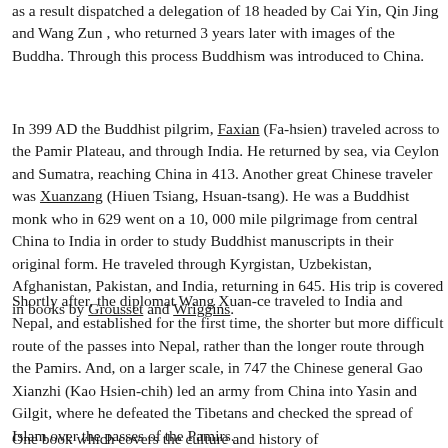as a result dispatched a delegation of 18 headed by Cai Yin, Qin Jing and Wang Zun , who returned 3 years later with images of the Buddha. Through this process Buddhism was introduced to China.
In 399 AD the Buddhist pilgrim, Faxian (Fa-hsien) traveled across to the Pamir Plateau, and through India. He returned by sea, via Ceylon and Sumatra, reaching China in 413. Another great Chinese traveler was Xuanzang (Hiuen Tsiang, Hsuan-tsang). He was a Buddhist monk who in 629 went on a 10, 000 mile pilgrimage from central China to India in order to study Buddhist manuscripts in their original form. He traveled through Kyrgistan, Uzbekistan, Afghanistan, Pakistan, and India, returning in 645. His trip is covered in books by Grousset and Wriggins.
Shortly after, the diplomat Wang Xuan-ce traveled to India and Nepal, and established for the first time, the shorter but more difficult route of the passes into Nepal, rather than the longer route through the Pamirs. And, on a larger scale, in 747 the Chinese general Gao Xianzhi (Kao Hsien-chih) led an army from China into Yasin and Gilgit, where he defeated the Tibetans and checked the spread of Islam over the passes of the Pamirs.
One book which covers the culture and history of